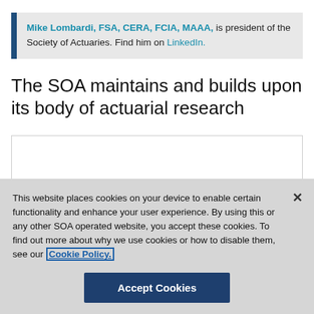Mike Lombardi, FSA, CERA, FCIA, MAAA, is president of the Society of Actuaries. Find him on LinkedIn.
The SOA maintains and builds upon its body of actuarial research
[Figure (other): Empty bordered white box below the section header]
This website places cookies on your device to enable certain functionality and enhance your user experience. By using this or any other SOA operated website, you accept these cookies. To find out more about why we use cookies or how to disable them, see our Cookie Policy.
Accept Cookies